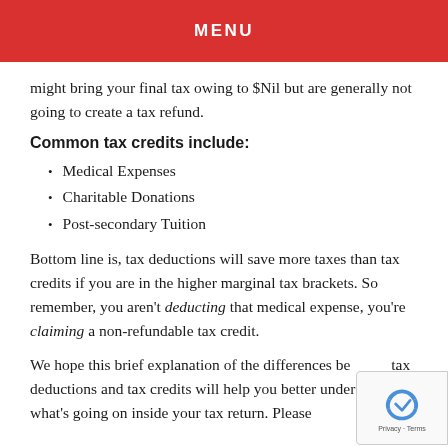MENU
might bring your final tax owing to $Nil but are generally not going to create a tax refund.
Common tax credits include:
Medical Expenses
Charitable Donations
Post-secondary Tuition
Bottom line is, tax deductions will save more taxes than tax credits if you are in the higher marginal tax brackets. So remember, you aren't deducting that medical expense, you're claiming a non-refundable tax credit.
We hope this brief explanation of the differences between tax deductions and tax credits will help you better understand what's going on inside your tax return. Please